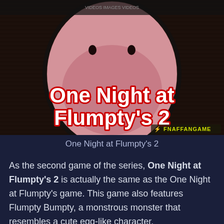[Figure (screenshot): Game cover art for 'One Night at Flumpty's 2' showing a large pink egg-shaped character face with small black eyes and a curved mouth on a dark wood-textured background. Large white bold text reads 'One Night at Flumpty's 2' with red glow effect. A 'FNAFFANGAME' watermark logo appears in the bottom right corner.]
One Night at Flumpty’s 2
As the second game of the series, One Night at Flumpty’s 2 is actually the same as the One Night at Flumpty’s game. This game also features Flumpty Bumpty, a monstrous monster that resembles a cute egg-like character.